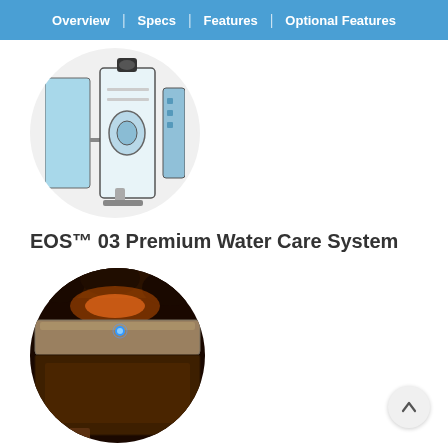Overview | Specs | Features | Optional Features
[Figure (photo): Circular cropped image of EOS water care system device showing internal components with blue and black housing]
EOS™ 03 Premium Water Care System
[Figure (photo): Circular cropped photo of a hot tub spa at night with dark brown cabinet, illuminated cover lifter, and ambient blue LED lighting]
DuraSteps